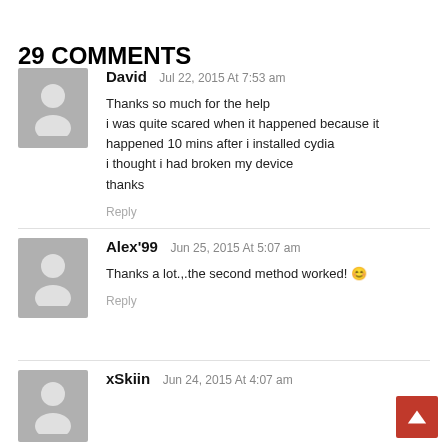29 COMMENTS
David Jul 22, 2015 At 7:53 am
Thanks so much for the help
i was quite scared when it happened because it happened 10 mins after i installed cydia
i thought i had broken my device
thanks
Reply
Alex'99 Jun 25, 2015 At 5:07 am
Thanks a lot.,.the second method worked! 😊
Reply
xSkiin Jun 24, 2015 At 4:07 am